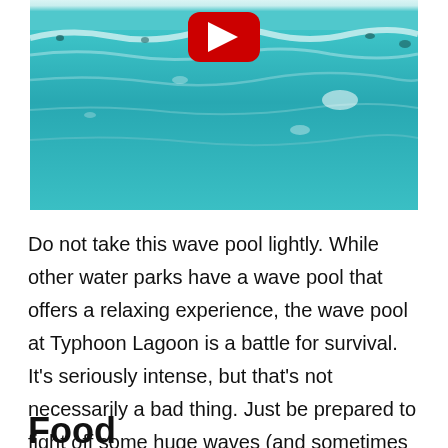[Figure (screenshot): A YouTube video thumbnail showing a turquoise wave pool with people swimming. A red YouTube play button is centered at the top of the image.]
Do not take this wave pool lightly. While other water parks have a wave pool that offers a relaxing experience, the wave pool at Typhoon Lagoon is a battle for survival. It’s seriously intense, but that’s not necessarily a bad thing. Just be prepared to fight off some huge waves (and sometimes people) as they crash into you.
Food